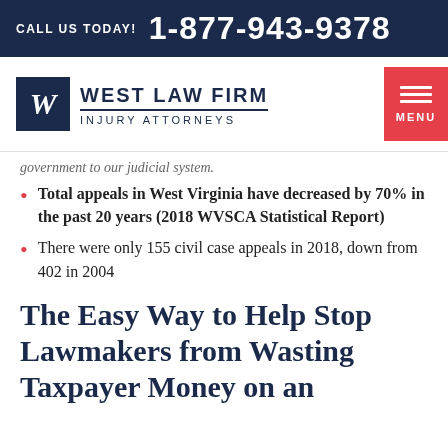CALL US TODAY! 1-877-943-9378
[Figure (logo): West Law Firm Injury Attorneys logo with W monogram in navy square, firm name in navy uppercase letters, and red menu button]
government to our judicial system.
Total appeals in West Virginia have decreased by 70% in the past 20 years (2018 WVSCA Statistical Report)
There were only 155 civil case appeals in 2018, down from 402 in 2004
The Easy Way to Help Stop Lawmakers from Wasting Taxpayer Money on an